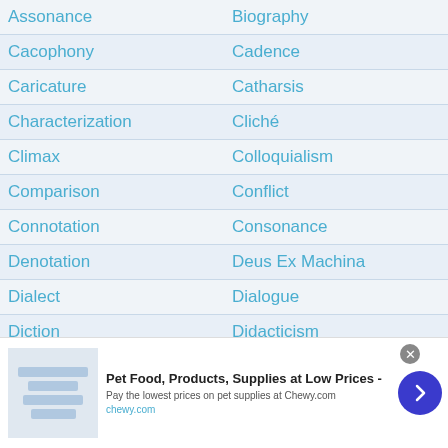| Assonance | Biography |
| Cacophony | Cadence |
| Caricature | Catharsis |
| Characterization | Cliché |
| Climax | Colloquialism |
| Comparison | Conflict |
| Connotation | Consonance |
| Denotation | Deus Ex Machina |
| Dialect | Dialogue |
| Diction | Didacticism |
| Discourse | Doppelganger |
| Double Entendre | Ellipsis |
| Epiphany | Epitaph |
| Essay | Ethos |
| Eulogy | Euphemism |
[Figure (infographic): Advertisement banner for Chewy.com: 'Pet Food, Products, Supplies at Low Prices - Pay the lowest prices on pet supplies at Chewy.com' with a close button and arrow navigation button.]